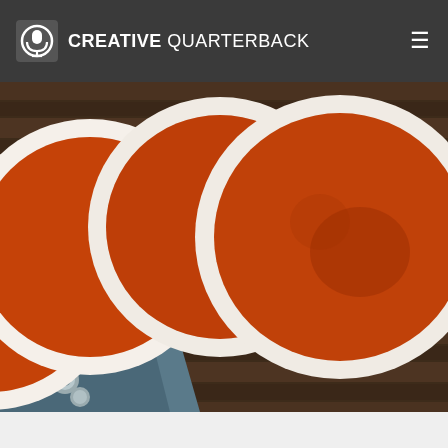CREATIVE QUARTERBACK
[Figure (photo): Close-up photo of four round orange coasters with white borders, fanned out on a dark wooden surface next to a blue leather item with metal studs. The coasters are leather or cardboard with an orange face and cream/white rim.]